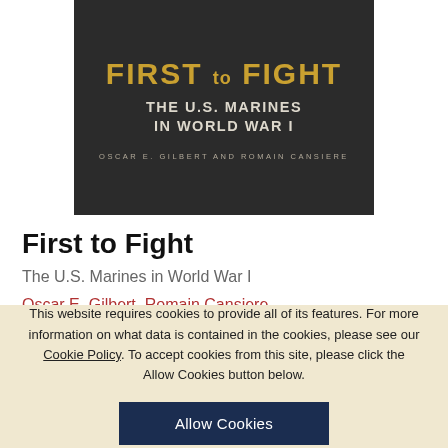[Figure (illustration): Book cover for 'First to Fight: The U.S. Marines in World War I' by Oscar E. Gilbert and Romain Cansiere. Dark background with gold and white bold text.]
First to Fight
The U.S. Marines in World War I
Oscar E. Gilbert, Romain Cansiere
This website requires cookies to provide all of its features. For more information on what data is contained in the cookies, please see our Cookie Policy. To accept cookies from this site, please click the Allow Cookies button below.